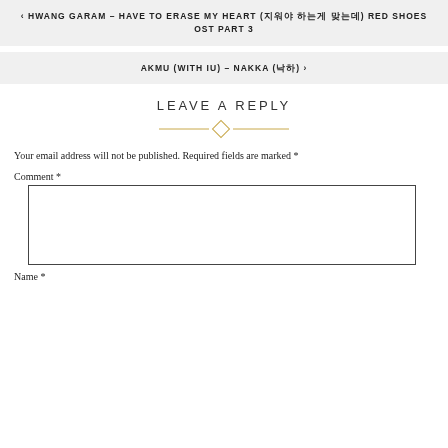‹ HWANG GARAM – HAVE TO ERASE MY HEART (지워야 하는게 맞는데) RED SHOES OST PART 3
AKMU (WITH IU) – NAKKA (낙하) ›
LEAVE A REPLY
Your email address will not be published. Required fields are marked *
Comment *
Name *